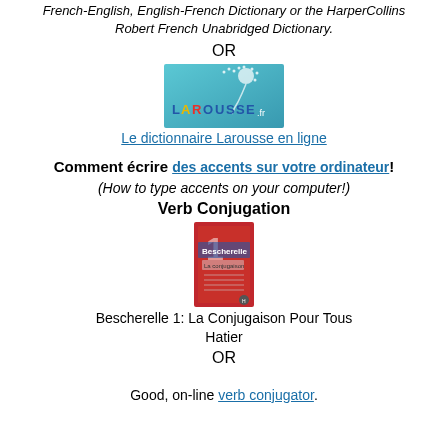French-English, English-French Dictionary or the HarperCollins Robert French Unabridged Dictionary.
OR
[Figure (logo): Larousse.fr logo with teal/blue background and dandelion graphic]
Le dictionnaire Larousse en ligne
Comment écrire des accents sur votre ordinateur!
(How to type accents on your computer!)
Verb Conjugation
[Figure (photo): Book cover of Bescherelle 1: La Conjugaison Pour Tous, red cover]
Bescherelle 1: La Conjugaison Pour Tous
Hatier
OR
Good, on-line verb conjugator.